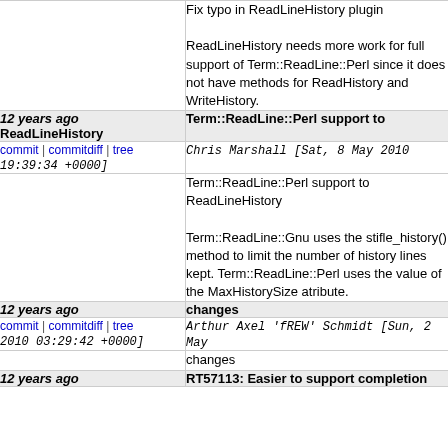Fix typo in ReadLineHistory plugin

ReadLineHistory needs more work for full support of Term::ReadLine::Perl since it does not have methods for ReadHistory and WriteHistory.
| age/title | commit info |
| --- | --- |
| 12 years ago ReadLineHistory | Term::ReadLine::Perl support to |
| commit | commitdiff | tree 19:39:34 +0000] | Chris Marshall [Sat, 8 May 2010 19:39:34 +0000] |
|  | Term::ReadLine::Perl support to ReadLineHistory

Term::ReadLine::Gnu uses the stifle_history() method to limit the number of history lines kept. Term::ReadLine::Perl uses the value of the MaxHistorySize atribute. |
| 12 years ago | changes |
| commit | commitdiff | tree 2010 03:29:42 +0000] | Arthur Axel 'fREW' Schmidt [Sun, 2 May 2010 03:29:42 +0000] |
|  | changes |
| 12 years ago | RT57113: Easier to support completion |